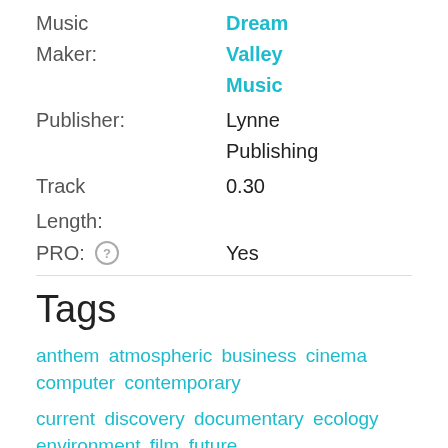Music Maker: Dream Valley Music
Publisher: Lynne Publishing
Track 0.30
Length:
PRO: Yes
Tags
anthem atmospheric business cinema computer contemporary
current discovery documentary ecology environment film future
futuristic green issues independent indie
instrumental